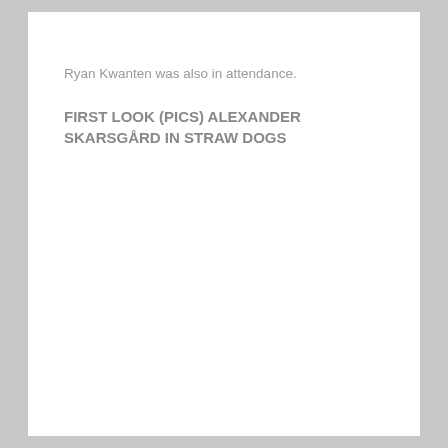Ryan Kwanten was also in attendance.
FIRST LOOK (PICS) ALEXANDER SKARSGÅRD IN STRAW DOGS